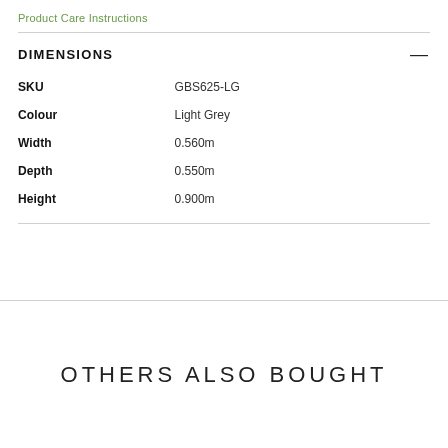Product Care Instructions
DIMENSIONS
|  |  |
| --- | --- |
| SKU | GBS625-LG |
| Colour | Light Grey |
| Width | 0.560m |
| Depth | 0.550m |
| Height | 0.900m |
OTHERS ALSO BOUGHT